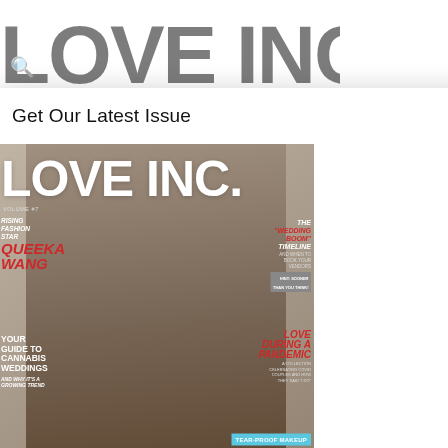[Figure (screenshot): Website screenshot showing Love Inc. magazine website with a modal popup overlay. The modal shows 'Get Our Latest Issue' with a CLOSE button and displays the Love Inc. magazine cover featuring a smiling Black man in a white garment. Background shows partial magazine logo 'LO' and article text. Bottom shows thumbnail images.]
Get Our Latest Issue
CLOSE
LOVE INC.
VOLUME #7
RISING FASHION STAR QUEEKA WANG
YOUR GUIDE TO CANNABIS WEDDINGS AND WHY IT'S A GROWING TREND
THE "WEDDING BOOM" TIMELINE AND WHEN TO BOOK YOUR VENDORS HINT: SOONER THAN YOU THINK!
LOVE DURING A PANDEMIC A COLLECTION CELEBRATING COVID COUPLES AND HOW THEY SAID "I DO"
TEAR-PROOF MAKEUP BEAUTY EXPERTS SHARE THEIR PRODUCT PICKS!
CHALLENGING bridal BECAUSE EVERYONE DESERVES TO FEEL BRIDAL, NO MATTER THEIR GENDER
WEDDING-WORTHY MOCKTAILS
reunion was sho the Peace Corp months, and Na relationship as D York from Moro
In the spring of 2 another shot — wouldn't get ser quickly learned t be. Their first ser game, which, th Dominick's hear months later, an